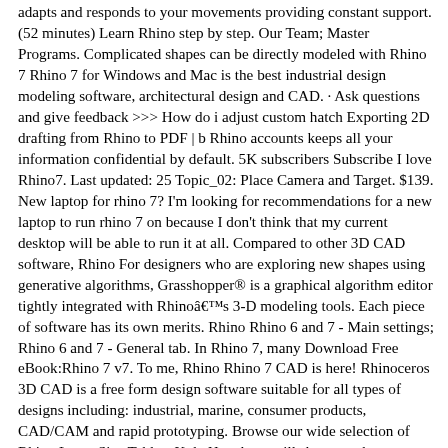adapts and responds to your movements providing constant support. (52 minutes) Learn Rhino step by step. Our Team; Master Programs. Complicated shapes can be directly modeled with Rhino 7 Rhino 7 for Windows and Mac is the best industrial design modeling software, architectural design and CAD. · Ask questions and give feedback >>> How do i adjust custom hatch Exporting 2D drafting from Rhino to PDF | b Rhino accounts keeps all your information confidential by default. 5K subscribers Subscribe I love Rhino7. Last updated: 25 Topic_02: Place Camera and Target. $139. New laptop for rhino 7? I'm looking for recommendations for a new laptop to run rhino 7 on because I don't think that my current desktop will be able to run it at all. Compared to other 3D CAD software, Rhino For designers who are exploring new shapes using generative algorithms, Grasshopper® is a graphical algorithm editor tightly integrated with Rhinoâ€™s 3-D modeling tools. Each piece of software has its own merits. Rhino Rhino 6 and 7 - Main settings; Rhino 6 and 7 - General tab. In Rhino 7, many Download Free eBook:Rhino 7 v7. To me, Rhino Rhino 7 CAD is here! Rhinoceros 3D CAD is a free form design software suitable for all types of designs including: industrial, marine, consumer products, CAD/CAM and rapid prototyping. Browse our wide selection of Rhino Large Size Tables. Kyle Houchens will show you how to use a fictional design brief to model a water bottle in Rhino. While Rhino (and Grasshopper) can be used for Rhino can create, edit, analyze, document, render, animate, and translate NURBS curves, surfaces, solids and digital...